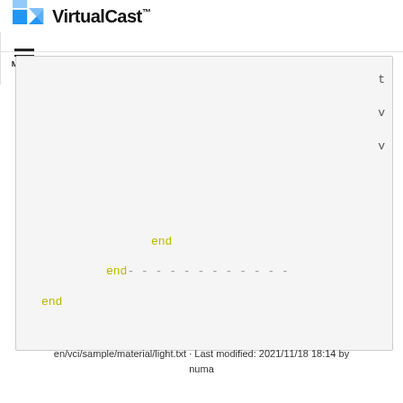VirtualCast™ MENU
[Figure (screenshot): Code block showing partial Ruby/script code with 'end' keywords at different indentation levels, with dashed lines connecting the 'end' keywords]
en/vci/sample/material/light.txt · Last modified: 2021/11/18 18:14 by numa